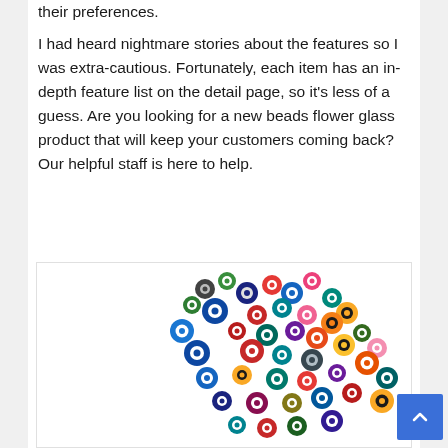their preferences.
I had heard nightmare stories about the features so I was extra-cautious. Fortunately, each item has an in-depth feature list on the detail page, so it’s less of a guess. Are you looking for a new beads flower glass product that will keep your customers coming back? Our helpful staff is here to help.
[Figure (photo): A collection of colorful millefiori glass flower beads scattered in a curved arrangement on a white background. The flowers are in various colors including blue, red, yellow, green, black, white, and multicolor patterns.]